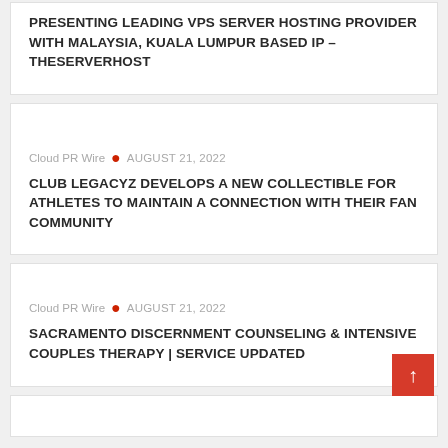PRESENTING LEADING VPS SERVER HOSTING PROVIDER WITH MALAYSIA, KUALA LUMPUR BASED IP – THESERVERHOST
Cloud PR Wire • AUGUST 21, 2022
CLUB LEGACYZ DEVELOPS A NEW COLLECTIBLE FOR ATHLETES TO MAINTAIN A CONNECTION WITH THEIR FAN COMMUNITY
Cloud PR Wire • AUGUST 21, 2022
SACRAMENTO DISCERNMENT COUNSELING & INTENSIVE COUPLES THERAPY | SERVICE UPDATED